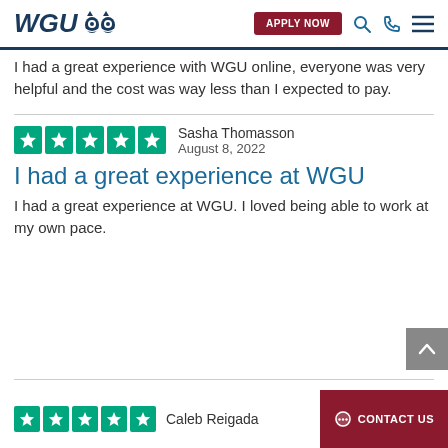WGU — APPLY NOW
I had a great experience with WGU online, everyone was very helpful and the cost was way less than I expected to pay.
Sasha Thomasson
August 8, 2022
I had a great experience at WGU
I had a great experience at WGU. I loved being able to work at my own pace.
Caleb Reigada